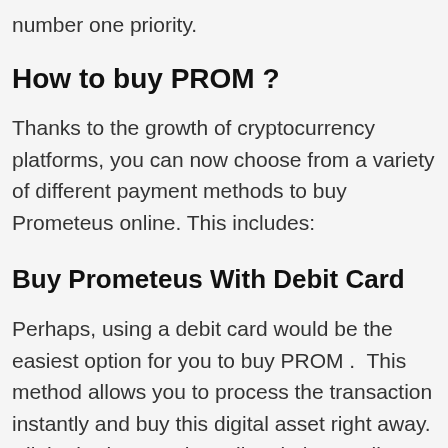number one priority.
How to buy PROM ?
Thanks to the growth of cryptocurrency platforms, you can now choose from a variety of different payment methods to buy Prometeus online. This includes:
Buy Prometeus With Debit Card
Perhaps, using a debit card would be the easiest option for you to buy PROM .  This method allows you to process the transaction instantly and buy this digital asset right away. All the brokers we have listed above, allow you to buy P[obscured]g a debit card. However, fees at are by far the[obscured]th the broker allowing clients to